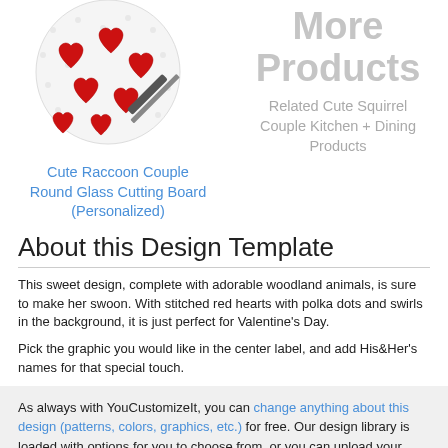[Figure (photo): Round glass cutting board with red hearts and polka dot pattern, with a knife]
Cute Raccoon Couple Round Glass Cutting Board (Personalized)
More Products
Related Cute Squirrel Couple Kitchen + Dining Products
About this Design Template
This sweet design, complete with adorable woodland animals, is sure to make her swoon. With stitched red hearts with polka dots and swirls in the background, it is just perfect for Valentine's Day.
Pick the graphic you would like in the center label, and add His&Her's names for that special touch.
As always with YouCustomizeIt, you can change anything about this design (patterns, colors, graphics, etc.) for free. Our design library is loaded with options for you to choose from, or you can upload your own. Need Help? You can always contact us or chat with our design